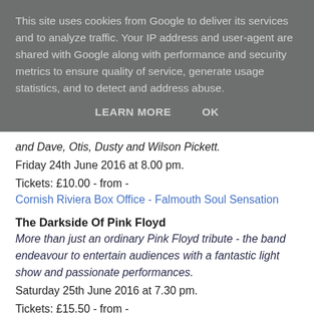This site uses cookies from Google to deliver its services and to analyze traffic. Your IP address and user-agent are shared with Google along with performance and security metrics to ensure quality of service, generate usage statistics, and to detect and address abuse.
LEARN MORE   OK
and Dave, Otis, Dusty and Wilson Pickett.
Friday 24th June 2016 at 8.00 pm.
Tickets: £10.00 - from -
Cornish Riviera Box Office - Falmouth Soul Sensation
The Darkside Of Pink Floyd
More than just an ordinary Pink Floyd tribute - the band endeavour to entertain audiences with a fantastic light show and passionate performances.
Saturday 25th June 2016 at 7.30 pm.
Tickets: £15.50 - from -
Cornish Riviera Box Office - The Darkside Of Pink Floyd